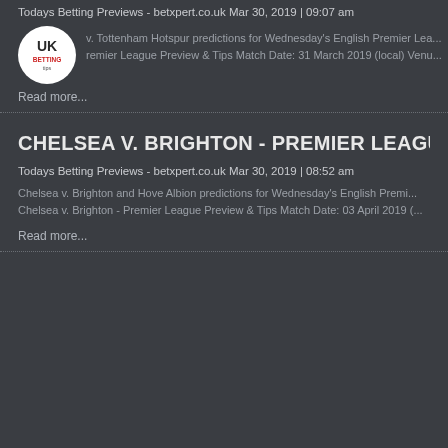Todays Betting Previews - betxpert.co.uk Mar 30, 2019 | 09:07 am
[Figure (logo): UK betting tips logo — circular white badge with 'UK' text and red accent]
v. Tottenham Hotspur predictions for Wednesday's English Premier Lea... remier League Preview & Tips Match Date: 31 March 2019 (local) Venu...
Read more...
CHELSEA V. BRIGHTON - PREMIER LEAGUE
Todays Betting Previews - betxpert.co.uk Mar 30, 2019 | 08:52 am
Chelsea v. Brighton and Hove Albion predictions for Wednesday's English Premi... Chelsea v. Brighton - Premier League Preview & Tips Match Date: 03 April 2019 (...
Read more...